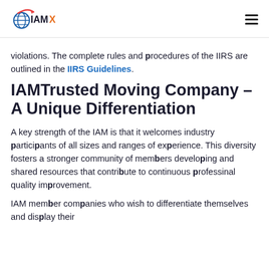IAMX
violations. The complete rules and procedures of the IIRS are outlined in the IIRS Guidelines.
IAMTrusted Moving Company – A Unique Differentiation
A key strength of the IAM is that it welcomes industry participants of all sizes and ranges of experience. This diversity fosters a stronger community of members developing and shared resources that contribute to continuous professinal quality improvement.
IAM member companies who wish to differentiate themselves and display their